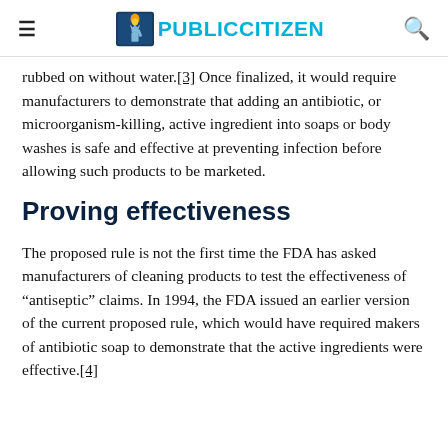PUBLIC CITIZEN
rubbed on without water.[3] Once finalized, it would require manufacturers to demonstrate that adding an antibiotic, or microorganism-killing, active ingredient into soaps or body washes is safe and effective at preventing infection before allowing such products to be marketed.
Proving effectiveness
The proposed rule is not the first time the FDA has asked manufacturers of cleaning products to test the effectiveness of “antiseptic” claims. In 1994, the FDA issued an earlier version of the current proposed rule, which would have required makers of antibiotic soap to demonstrate that the active ingredients were effective.[4]